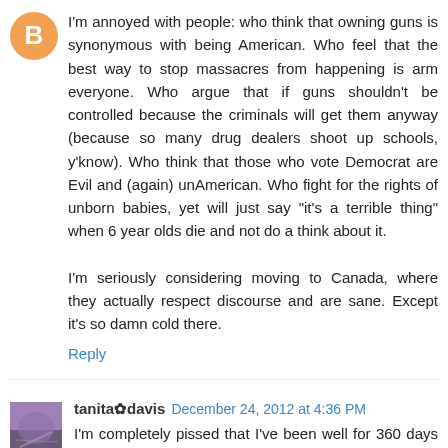[Figure (illustration): Blogger avatar - orange circle with white B letter]
I'm annoyed with people: who think that owning guns is synonymous with being American. Who feel that the best way to stop massacres from happening is arm everyone. Who argue that if guns shouldn't be controlled because the criminals will get them anyway (because so many drug dealers shoot up schools, y'know). Who think that those who vote Democrat are Evil and (again) unAmerican. Who fight for the rights of unborn babies, yet will just say "it's a terrible thing" when 6 year olds die and not do a think about it.

I'm seriously considering moving to Canada, where they actually respect discourse and are sane. Except it's so damn cold there.
Reply
[Figure (photo): Small square avatar photo with purple/blue tones]
tanita✿davis December 24, 2012 at 4:36 PM
I'm completely pissed that I've been well for 360 days this year, and the four days I have back to back concerts? Of course, some nasty, breath-stealing, lung-hacking cough.